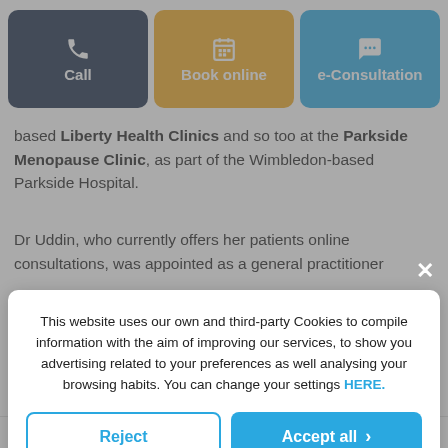[Figure (screenshot): Navigation buttons: Call (dark navy), Book online (orange/amber), e-Consultation (blue)]
based Liberty Health Clinics and so too at the Parkside Menopause Clinic, as part of the Wimbledon-based Parkside Hospital.
Dr Uddin, who currently offers her patients online consultations, was appointed as a general practitioner
This website uses our own and third-party Cookies to compile information with the aim of improving our services, to show you advertising related to your preferences as well analysing your browsing habits. You can change your settings HERE.
Reject
Accept all
Custom configuration | Cookies Policy | Privacy Policy
She graduated with an MBBS from the King's College